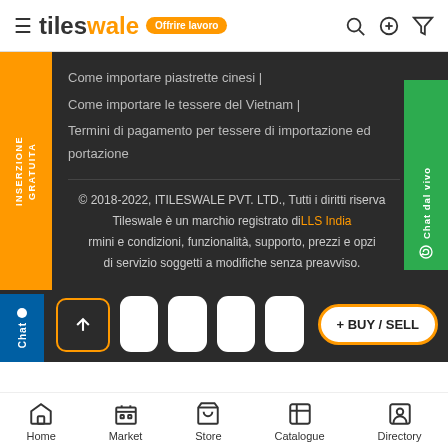tileswale — Offrire lavoro
Come importare piastrette cinesi |
Come importare le tessere del Vietnam |
Termini di pagamento per tessere di importazione ed portazione
© 2018-2022, ITILESWALE PVT. LTD., Tutti i diritti riservati. Tileswale è un marchio registrato di LLS India. Termini e condizioni, funzionalità, supporto, prezzi e opzioni di servizio soggetti a modifiche senza preavviso.
Home | Market | Store | Catalogue | Directory